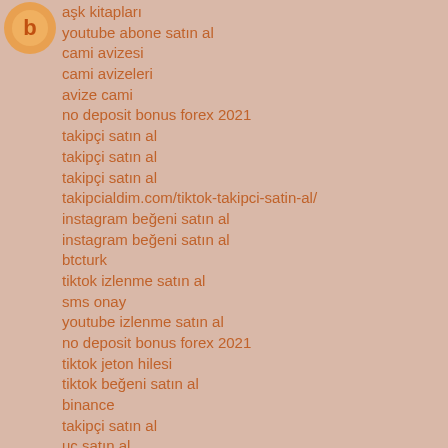[Figure (logo): Orange circular logo in top-left corner]
aşk kitapları
youtube abone satın al
cami avizesi
cami avizeleri
avize cami
no deposit bonus forex 2021
takipçi satın al
takipçi satın al
takipçi satın al
takipcialdim.com/tiktok-takipci-satin-al/
instagram beğeni satın al
instagram beğeni satın al
btcturk
tiktok izlenme satın al
sms onay
youtube izlenme satın al
no deposit bonus forex 2021
tiktok jeton hilesi
tiktok beğeni satın al
binance
takipçi satın al
uc satın al